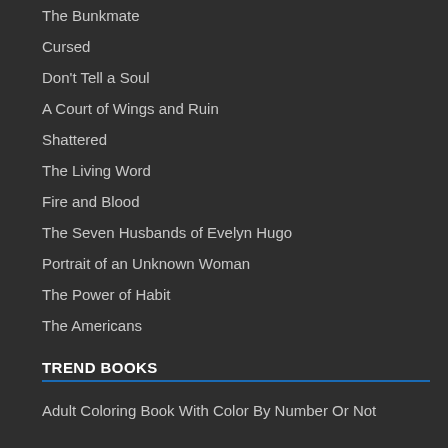The Bunkmate
Cursed
Don't Tell a Soul
A Court of Wings and Ruin
Shattered
The Living Word
Fire and Blood
The Seven Husbands of Evelyn Hugo
Portrait of an Unknown Woman
The Power of Habit
The Americans
TREND BOOKS
Adult Coloring Book With Color By Number Or Not